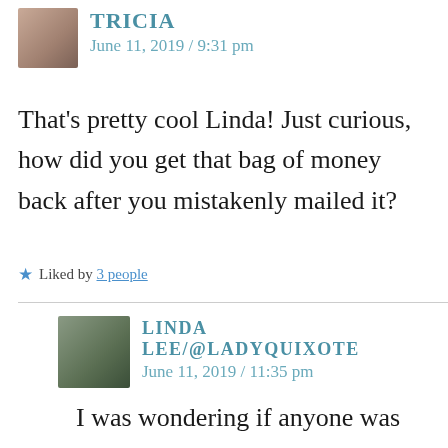TRICIA
June 11, 2019 / 9:31 pm
That’s pretty cool Linda! Just curious, how did you get that bag of money back after you mistakenly mailed it?
Liked by 3 people
LINDA LEE/@LADYQUIXOTE
June 11, 2019 / 11:35 pm
I was wondering if anyone was going to ask me that! When I realized what I had